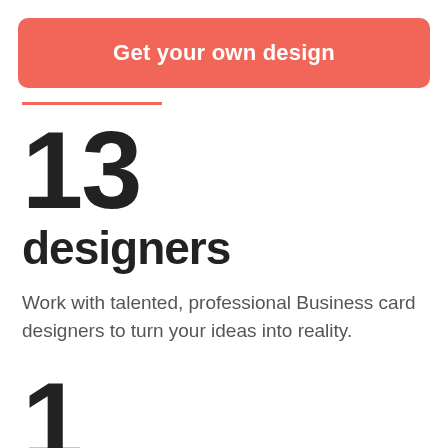Get your own design
13
designers
Work with talented, professional Business card designers to turn your ideas into reality.
1
winner